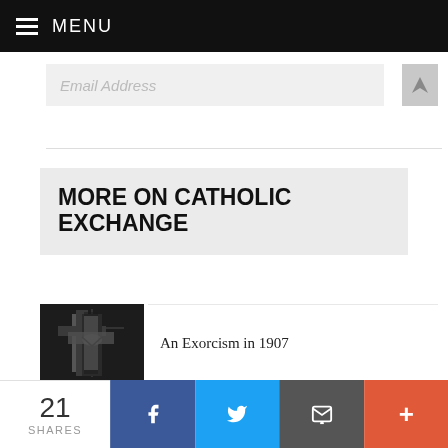MENU
[Figure (screenshot): Partially visible email address input field with grey background]
MORE ON CATHOLIC EXCHANGE
[Figure (photo): Dark photo of a cross on a church ceiling or wall]
An Exorcism in 1907
[Figure (photo): Photo of pink and purple cloudy sky]
Vice is Nice but Virtue Can Hurt
21 SHARES